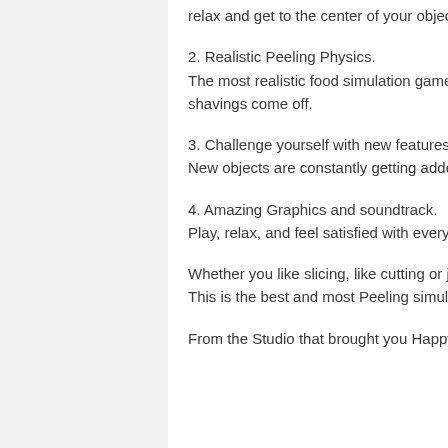relax and get to the center of your objects
2. Realistic Peeling Physics. The most realistic food simulation game there is. Rotate the fruit and vegetables and watch the shavings come off.
3. Challenge yourself with new features. New objects are constantly getting added for you to peel and enjoy
4. Amazing Graphics and soundtrack. Play, relax, and feel satisfied with every object you leave peeled.
Whether you like slicing, like cutting or just want to spin and peel, I Peel Good will take you there. This is the best and most Peeling simulation game there is. Good luck putting I Peel Good down!
From the Studio that brought you Happy Glass, Flip Trickster and Mr Bullet!